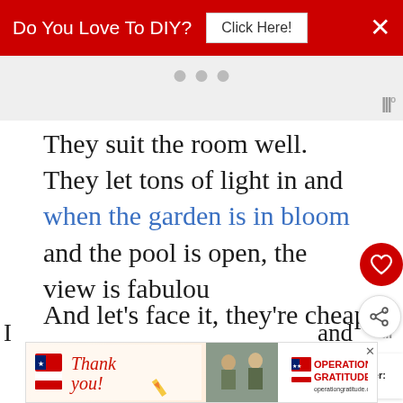[Figure (screenshot): Red advertisement banner: 'Do You Love To DIY? Click Here!' with white X close button]
[Figure (screenshot): Gray ad placeholder area with three dots and decorative logo on right]
They suit the room well. They let tons of light in and when the garden is in bloom and the pool is open, the view is fabulous
And let's face it, they're cheap and easy to make.
[Figure (screenshot): WHAT'S NEXT arrow widget: 'Before And After: Cotta...' with thumbnail image]
[Figure (screenshot): Bottom advertisement banner: Thank you Operation Gratitude military appreciation ad]